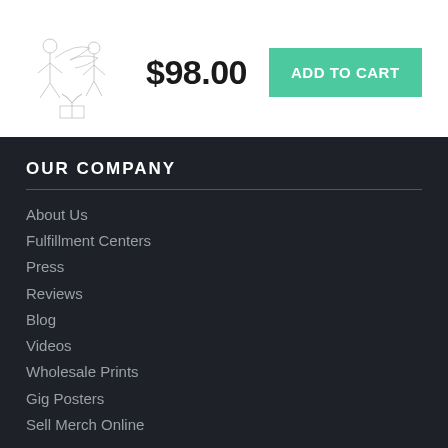[Figure (photo): Small framed print product image with line art illustration of figures, shown with black border frame]
$98.00
ADD TO CART
All framed prints ship from our production facility within 3 - 4 business days of your order.
OUR COMPANY
About Us
Fulfillment Centers
Press
Reviews
Blog
Videos
Wholesale Prints
Gig Posters
Sell Merch Online